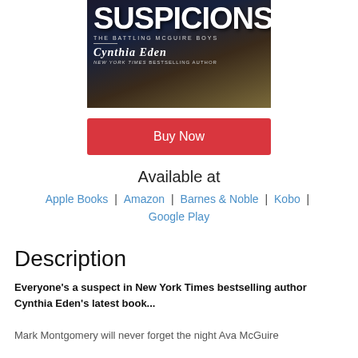[Figure (illustration): Book cover for 'Suspicions' by Cynthia Eden, part of The Battling McGuire Boys series. Dark moody background with a person and a dog. Text reads: SUSPICIONS, THE BATTLING McGUIRE BOYS, Cynthia Eden, NEW YORK TIMES BESTSELLING AUTHOR.]
Buy Now
Available at
Apple Books | Amazon | Barnes & Noble | Kobo | Google Play
Description
Everyone's a suspect in New York Times bestselling author Cynthia Eden's latest book...
Mark Montgomery will never forget the night Ava McGuire